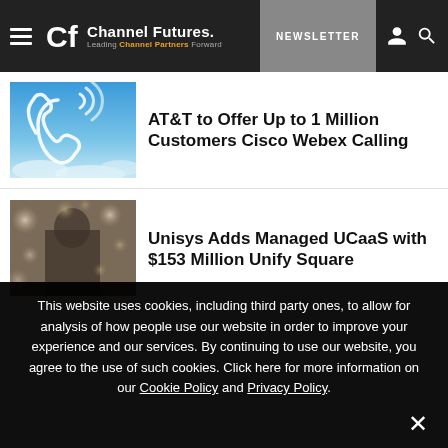Channel Futures — Leading Channel Partners Forward | NEWSLETTER
[Figure (screenshot): Article thumbnail: phone handset icon with wifi/signal waves on a blue sky background, representing VoIP/calling services]
AT&T to Offer Up to 1 Million Customers Cisco Webex Calling
[Figure (photo): Article thumbnail: blurred bokeh lights with a person in background, representing business/UCaaS technology]
Unisys Adds Managed UCaaS with $153 Million Unify Square
This website uses cookies, including third party ones, to allow for analysis of how people use our website in order to improve your experience and our services. By continuing to use our website, you agree to the use of such cookies. Click here for more information on our Cookie Policy and Privacy Policy.